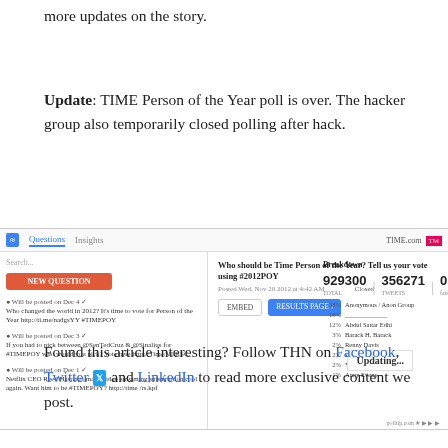more updates on the story.
Update: TIME Person of the Year poll is over. The hacker group also temporarily closed polling after hack.
[Figure (screenshot): Screenshot of a polling website (polltip.com) showing a TIME Person of the Year poll question with breakdown statistics showing 929300 total, 356271 tweets, 0 total/no-shows, and an 'Updating...' overlay on the breakdown chart.]
Found this article interesting? Follow THN on Facebook, Twitter and LinkedIn to read more exclusive content we post.